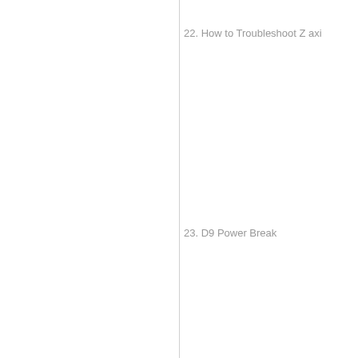22. How to Troubleshoot Z axi
23. D9 Power Break